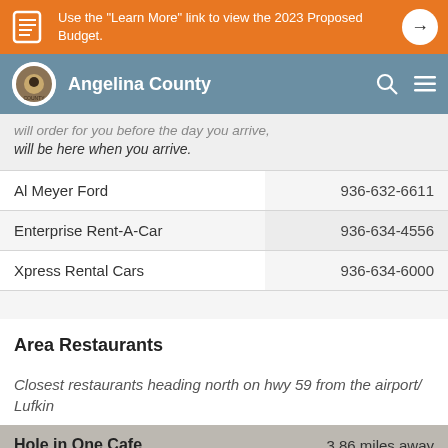Use the "Learn More" link to view the 2023 Proposed Budget.
Angelina County
will be here when you arrive.
| Name | Phone |
| --- | --- |
| Al Meyer Ford | 936-632-6611 |
| Enterprise Rent-A-Car | 936-634-4556 |
| Xpress Rental Cars | 936-634-6000 |
Area Restaurants
Closest restaurants heading north on hwy 59 from the airport/ Lufkin
| Name | Distance |
| --- | --- |
| Hole in One Cafe | 3.86 miles away |